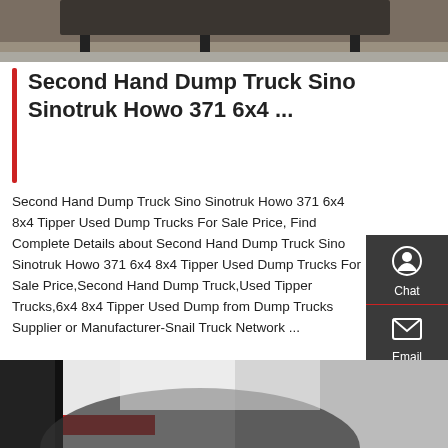[Figure (photo): Top portion of a dump truck photo, cropped at top of page]
Second Hand Dump Truck Sino Sinotruk Howo 371 6x4 ...
Second Hand Dump Truck Sino Sinotruk Howo 371 6x4 8x4 Tipper Used Dump Trucks For Sale Price, Find Complete Details about Second Hand Dump Truck Sino Sinotruk Howo 371 6x4 8x4 Tipper Used Dump Trucks For Sale Price,Second Hand Dump Truck,Used Tipper Trucks,6x4 8x4 Tipper Used Dump from Dump Trucks Supplier or Manufacturer-Snail Truck Network ...
Get a Quote
[Figure (screenshot): Sidebar with Chat, Email, Contact, and Top navigation icons on dark grey background]
[Figure (photo): Bottom portion of a car interior photo, showing dashboard and red/white body]